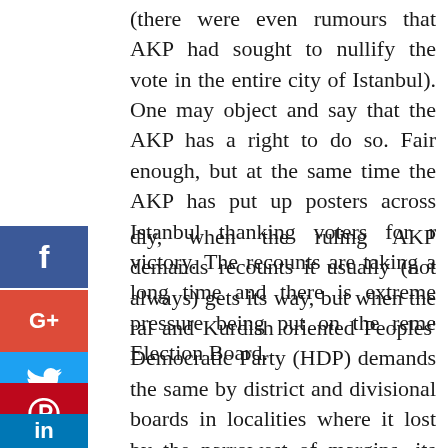(there were even rumours that AKP had sought to nullify the vote in the entire city of Istanbul). One may object and say that the AKP has a right to do so. Fair enough, but at the same time the AKP has put up posters across Istanbul thanking voters for r victory. The recounts are taking a long time and there is extreme pressure being put on the reme Election Board.
[Figure (infographic): Social media share buttons: Facebook (blue), Google+ (red)]
dly, when the ruling AKP demands recounts it usually (not always) gets its way, but when the ral and Kurdish oriented Peoples' Democratic Party (HDP) demands the same by district and divisional boards in localities where it lost by the narrowest of margins, its appeals are rejected. In other words, there are clearly double standards.
[Figure (infographic): Social media share buttons: Twitter (light blue), Pinterest (red), LinkedIn (dark blue)]